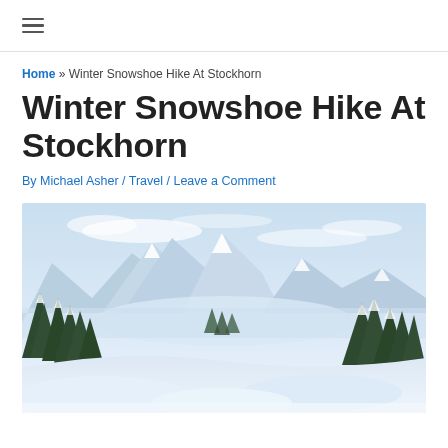≡ (hamburger menu icon)
Home » Winter Snowshoe Hike At Stockhorn
Winter Snowshoe Hike At Stockhorn
By Michael Asher / Travel / Leave a Comment
[Figure (photo): Panoramic winter mountain landscape with snow-covered trees, alpine valley, and mountain peaks under a light blue sky with clouds]